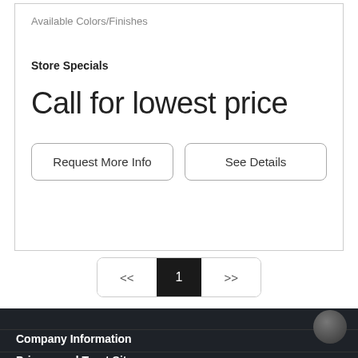Available Colors/Finishes
Store Specials
Call for lowest price
Request More Info
See Details
<< 1 >>
Company Information
Privacy and Trust Site